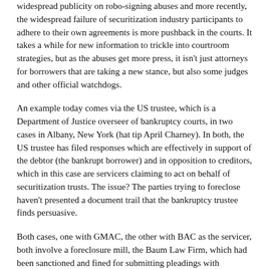widespread publicity on robo-signing abuses and more recently, the widespread failure of securitization industry participants to adhere to their own agreements is more pushback in the courts. It takes a while for new information to trickle into courtroom strategies, but as the abuses get more press, it isn't just attorneys for borrowers that are taking a new stance, but also some judges and other official watchdogs.
An example today comes via the US trustee, which is a Department of Justice overseer of bankruptcy courts, in two cases in Albany, New York (hat tip April Charney). In both, the US trustee has filed responses which are effectively in support of the debtor (the bankrupt borrower) and in opposition to creditors, which in this case are servicers claiming to act on behalf of securitization trusts. The issue? The parties trying to foreclose haven't presented a document trail that the bankruptcy trustee finds persuasive.
Both cases, one with GMAC, the other with BAC as the servicer, both involve a foreclosure mill, the Baum Law Firm, which had been sanctioned and fined for submitting pleadings with documentation defects. As the first pleading, the one with BAC as plaintiff, noted “The state court judge called the Baum Firm’s actions ‘reprehensible.’”